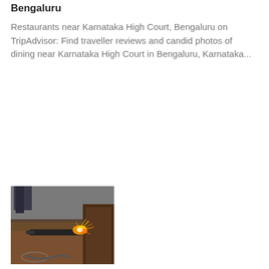Bengaluru
Restaurants near Karnataka High Court, Bengaluru on TripAdvisor: Find traveller reviews and candid photos of dining near Karnataka High Court in Bengaluru, Karnataka...
[Figure (photo): Outdoor photo showing a flame or welding torch applied to a wooden or metal surface, with sparks and fire visible. A person is partially visible in the background.]